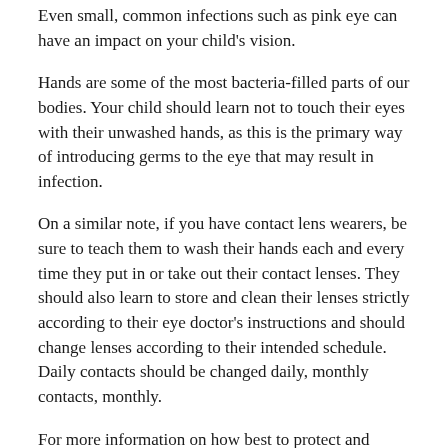Even small, common infections such as pink eye can have an impact on your child's vision.
Hands are some of the most bacteria-filled parts of our bodies. Your child should learn not to touch their eyes with their unwashed hands, as this is the primary way of introducing germs to the eye that may result in infection.
On a similar note, if you have contact lens wearers, be sure to teach them to wash their hands each and every time they put in or take out their contact lenses. They should also learn to store and clean their lenses strictly according to their eye doctor's instructions and should change lenses according to their intended schedule. Daily contacts should be changed daily, monthly contacts, monthly.
For more information on how best to protect and improve your child's eyesight, contact Vision Gallery in Katy today.
Q&A
Can I rely on the vision screenings at my child's